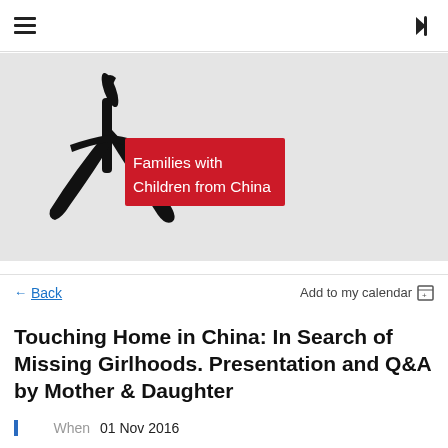☰  ➡
[Figure (logo): Families with Children from China logo: black Chinese calligraphy character overlapping a red rectangle with white text 'Families with Children from China']
← Back    Add to my calendar 🗓
Touching Home in China: In Search of Missing Girlhoods. Presentation and Q&A by Mother & Daughter
When  01 Nov 2016